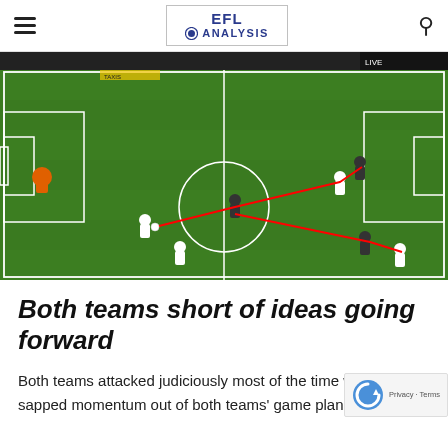EFL ANALYSIS
[Figure (photo): Football match tactical analysis photo showing players on a green pitch with red arrows/lines indicating passing or movement patterns. A goalkeeper in orange is visible near the goal, with several players in white and dark kits across the field.]
Both teams short of ideas going forward
Both teams attacked judiciously most of the time which sapped momentum out of both teams' game plan. Ofte